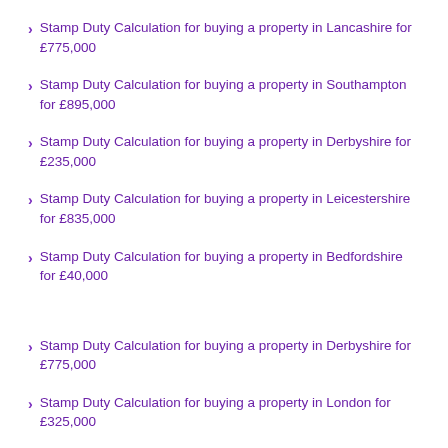Stamp Duty Calculation for buying a property in Lancashire for £775,000
Stamp Duty Calculation for buying a property in Southampton for £895,000
Stamp Duty Calculation for buying a property in Derbyshire for £235,000
Stamp Duty Calculation for buying a property in Leicestershire for £835,000
Stamp Duty Calculation for buying a property in Bedfordshire for £40,000
Stamp Duty Calculation for buying a property in Derbyshire for £775,000
Stamp Duty Calculation for buying a property in London for £325,000
Stamp Duty Calculation for buying a property in Somerset for £820,000